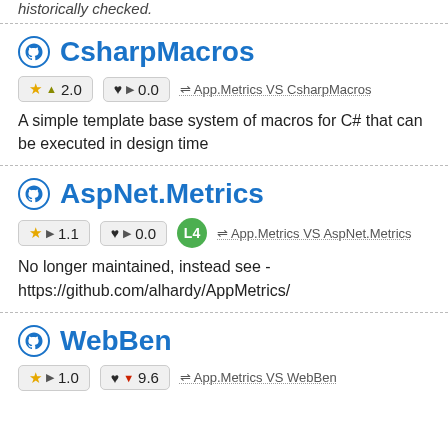historically checked.
CsharpMacros
★ ▲ 2.0   ♥ ▶ 0.0   ⇌ App.Metrics VS CsharpMacros
A simple template base system of macros for C# that can be executed in design time
AspNet.Metrics
★ ▶ 1.1   ♥ ▶ 0.0   L4   ⇌ App.Metrics VS AspNet.Metrics
No longer maintained, instead see - https://github.com/alhardy/AppMetrics/
WebBen
★ ▶ 1.0   ♥ ▼ 9.6   ⇌ App.Metrics VS WebBen